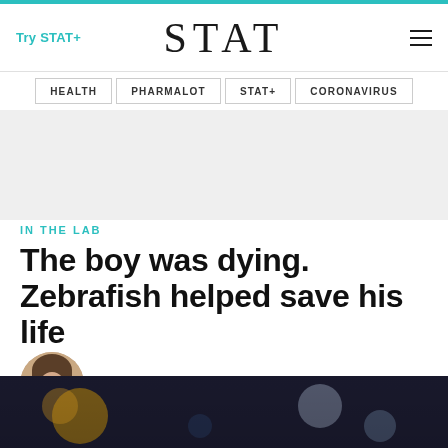Try STAT+  STAT  [menu]
HEALTH  PHARMALOT  STAT+  CORONAVIRUS
[Figure (other): Gray advertisement placeholder area]
IN THE LAB
The boy was dying. Zebrafish helped save his life
By Sharon Begley  July 1, 2019
[Figure (photo): Dark blurred photo background at bottom of page, showing out-of-focus laboratory or scientific equipment]